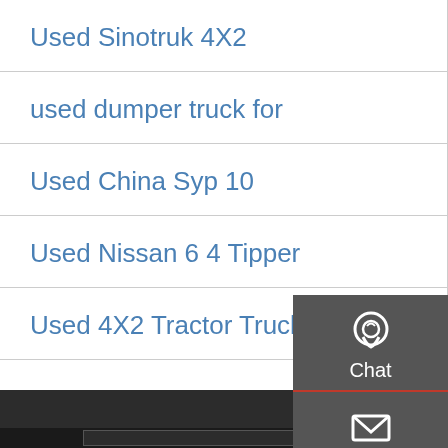Used Sinotruk 4X2
Used Hot selling 10
used dumper truck for
Used Imgur Foton 6X4
Used China Syp 10
Used Tipper Trucks fo
Used Nissan 6 4 Tipper
Used 8 Ton 4X4
Used 4X2 Tractor Truck
Used VOLVO Tipper
[Figure (infographic): Sidebar with Chat, Email, Contact, and Top navigation buttons on dark grey background]